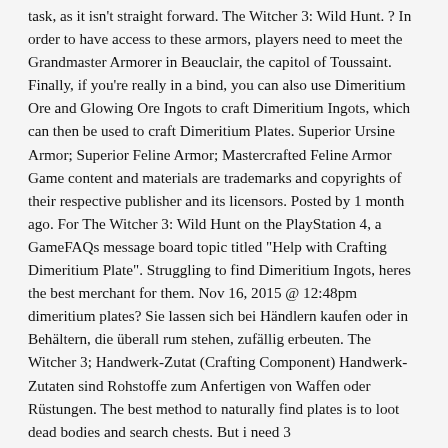task, as it isn't straight forward. The Witcher 3: Wild Hunt. ? In order to have access to these armors, players need to meet the Grandmaster Armorer in Beauclair, the capitol of Toussaint. Finally, if you're really in a bind, you can also use Dimeritium Ore and Glowing Ore Ingots to craft Dimeritium Ingots, which can then be used to craft Dimeritium Plates. Superior Ursine Armor; Superior Feline Armor; Mastercrafted Feline Armor Game content and materials are trademarks and copyrights of their respective publisher and its licensors. Posted by 1 month ago. For The Witcher 3: Wild Hunt on the PlayStation 4, a GameFAQs message board topic titled "Help with Crafting Dimeritium Plate". Struggling to find Dimeritium Ingots, heres the best merchant for them. Nov 16, 2015 @ 12:48pm dimeritium plates? Sie lassen sich bei Händlern kaufen oder in Behältern, die überall rum stehen, zufällig erbeuten. The Witcher 3; Handwerk-Zutat (Crafting Component) Handwerk-Zutaten sind Rohstoffe zum Anfertigen von Waffen oder Rüstungen. The best method to naturally find plates is to loot dead bodies and search chests. But i need 3